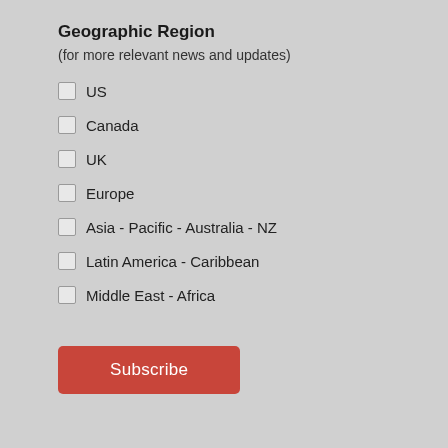Geographic Region
(for more relevant news and updates)
US
Canada
UK
Europe
Asia - Pacific - Australia - NZ
Latin America - Caribbean
Middle East - Africa
Subscribe